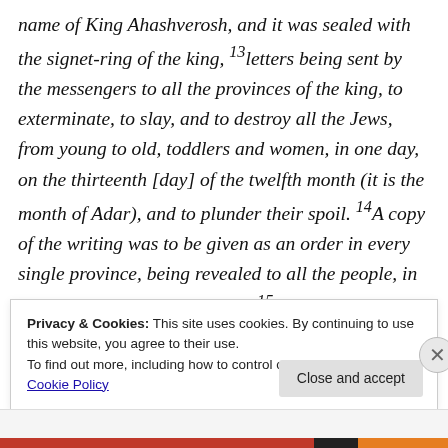name of King Ahashverosh, and it was sealed with the signet-ring of the king, 13letters being sent by the messengers to all the provinces of the king, to exterminate, to slay, and to destroy all the Jews, from young to old, toddlers and women, in one day, on the thirteenth [day] of the twelfth month (it is the month of Adar), and to plunder their spoil. 14A copy of the writing was to be given as an order in every single province, being revealed to all the people, in order to be ready for that day. 15The messengers went out hastily by the word
Privacy & Cookies: This site uses cookies. By continuing to use this website, you agree to their use.
To find out more, including how to control cookies, see here: Cookie Policy
Close and accept